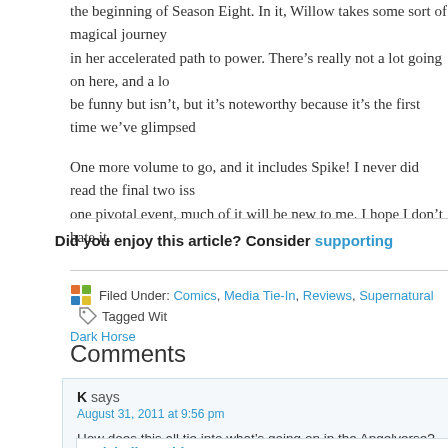the beginning of Season Eight. In it, Willow takes some sort of magical journey in her accelerated path to power. There's really not a lot going on here, and a lot be funny but isn't, but it's noteworthy because it's the first time we've glimpsed
One more volume to go, and it includes Spike! I never did read the final two iss one pivotal event, much of it will be new to me. I hope I don't hate it.
Did you enjoy this article? Consider supporting
Filed Under: Comics, Media Tie-In, Reviews, Supernatural Tagged With: Dark Horse
Comments
K says
August 31, 2011 at 9:56 pm
How does this all tie into what's going on in the Angelverse? Do they even try
REPLY
Michelle Smith says